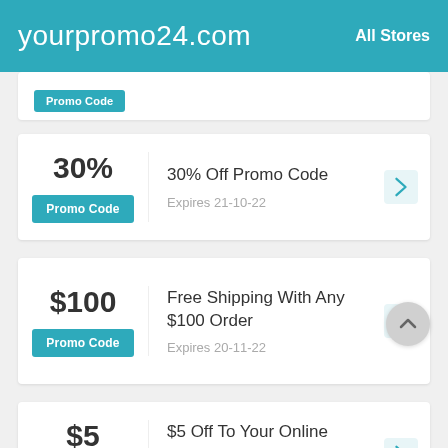yourpromo24.com   All Stores
30%
Promo Code
30% Off Promo Code
Expires 21-10-22
$100
Promo Code
Free Shipping With Any $100 Order
Expires 20-11-22
$5
Promo Code
$5 Off To Your Online Purchase
Expires 21-10-22